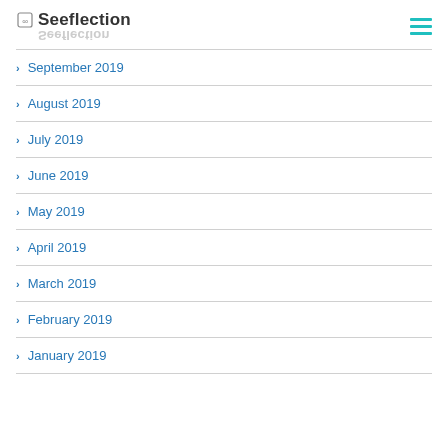Seeflection
September 2019
August 2019
July 2019
June 2019
May 2019
April 2019
March 2019
February 2019
January 2019